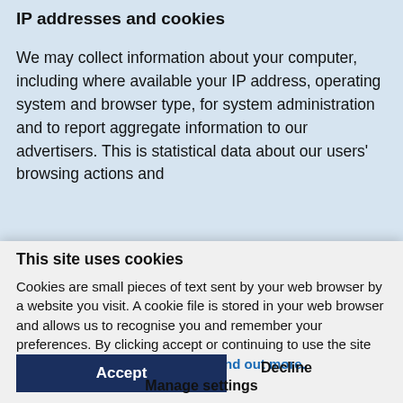IP addresses and cookies
We may collect information about your computer, including where available your IP address, operating system and browser type, for system administration and to report aggregate information to our advertisers. This is statistical data about our users' browsing actions and patterns, and does not identify any individual and we will not collect personal information in this way. We may
This site uses cookies
Cookies are small pieces of text sent by your web browser by a website you visit. A cookie file is stored in your web browser and allows us to recognise you and remember your preferences. By clicking accept or continuing to use the site you agree to our use of cookies. Find out more.
Accept
Decline
Manage settings